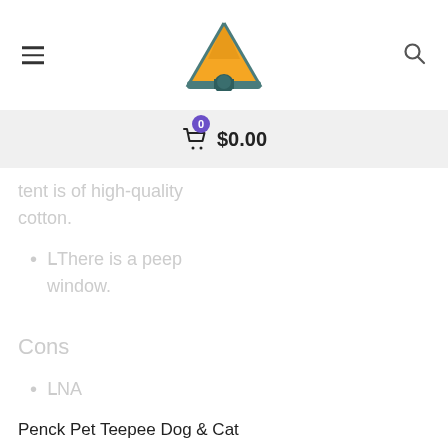Navigation header with hamburger menu, tent logo, and search icon
$0.00 cart with 0 items
tent is of high-quality cotton.
There is a peep window.
Cons
NA
Penck Pet Teepee Dog & Cat